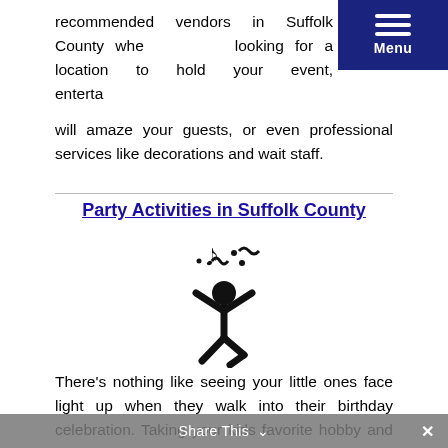recommended vendors in Suffolk County whether you're looking for a location to hold your event, entertainment that will amaze your guests, or even professional services like decorations and wait staff.
[Figure (illustration): Menu button with three horizontal white lines and 'Menu' label on dark blue background, top right corner]
Party Activities in Suffolk County
[Figure (illustration): Black stick figure icon with arms raised and confetti/music notes around them, celebrating]
There's nothing like seeing your little ones face light up when they walk into their birthday celebration. Taking your kids favorite hobby and turning it into a theme can be challenging, that's why we have put together a list of themes and activities
Share This